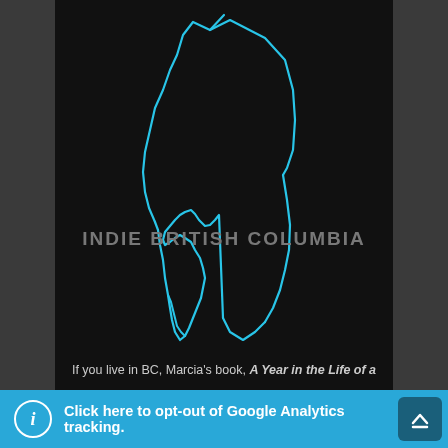[Figure (illustration): Book cover for 'Indie British Columbia' showing a cyan/blue outline map of British Columbia on a dark black background, with the text 'INDIE BRITISH COLUMBIA' overlaid in gray capital letters]
If you live in BC, Marcia's book, A Year in the Life of a
Click here to opt-out of Google Analytics tracking.